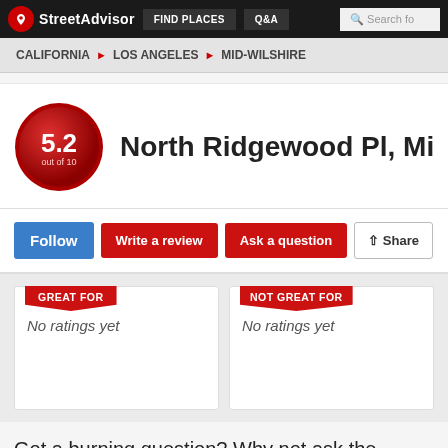StreetAdvisor | FIND PLACES | Q&A | Search for...
CALIFORNIA > LOS ANGELES > MID-WILSHIRE
5.2 out of 10 — North Ridgewood Pl, Mid-Wi
Follow | Write a review | Ask a question | Share
GREAT FOR — No ratings yet
NOT GREAT FOR — No ratings yet
Got a burning question? Why not ask the locals!
Simply ask your question below
What do you want to know?